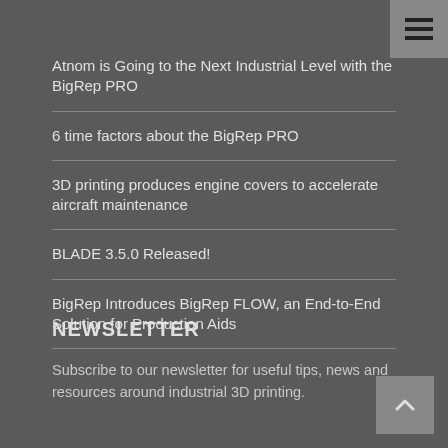Atnom is Going to the Next Industrial Level with the BigRep PRO
6 time factors about the BigRep PRO
3D printing produces engine covers to accelerate aircraft maintenance
BLADE 3.5.0 Released!
BigRep Introduces BigRep FLOW, an End-to-End Solution for Production Aids
NEWSLETTER
Subscribe to our newsletter for useful tips, news and resources around industrial 3D printing.